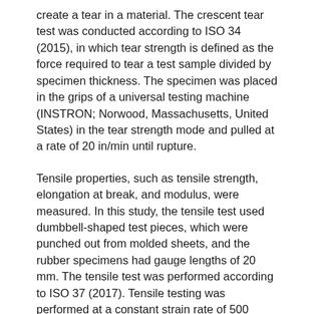create a tear in a material. The crescent tear test was conducted according to ISO 34 (2015), in which tear strength is defined as the force required to tear a test sample divided by specimen thickness. The specimen was placed in the grips of a universal testing machine (INSTRON; Norwood, Massachusetts, United States) in the tear strength mode and pulled at a rate of 20 in/min until rupture.
Tensile properties, such as tensile strength, elongation at break, and modulus, were measured. In this study, the tensile test used dumbbell-shaped test pieces, which were punched out from molded sheets, and the rubber specimens had gauge lengths of 20 mm. The tensile test was performed according to ISO 37 (2017). Tensile testing was performed at a constant strain rate of 500 mm/min until specimen fracture occurred.